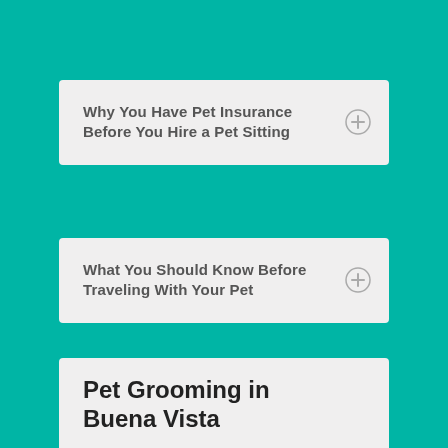Why You Have Pet Insurance Before You Hire a Pet Sitting
What You Should Know Before Traveling With Your Pet
Pet Grooming in Buena Vista